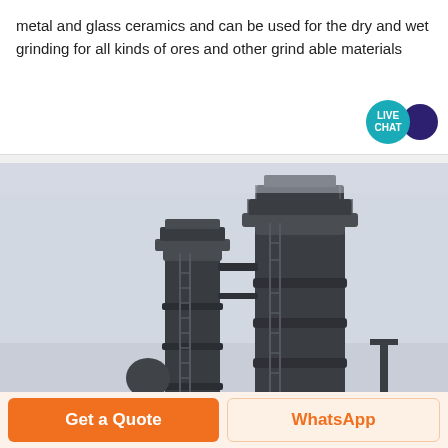metal and glass ceramics and can be used for the dry and wet grinding for all kinds of ores and other grind able materials
[Figure (photo): Industrial grinding mill or vertical roller mill equipment photographed from below against an overcast sky, showing large dark cylindrical tanks and metal scaffolding/ladders structure.]
Get a Quote
WhatsApp